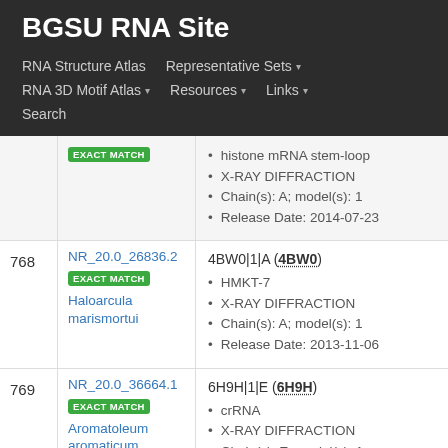BGSU RNA Site
RNA Structure Atlas | Representative Sets ▾ | RNA 3D Motif Atlas ▾ | Resources ▾ | Links ▾ | Search
| # | NR / Organism | PDB Entry / Details |
| --- | --- | --- |
|  | EXACT MATCH | histone mRNA stem-loop • X-RAY DIFFRACTION • Chain(s): A; model(s): 1 • Release Date: 2014-07-23 |
| 768 | NR_20.0_26836.2
EXACT MATCH
Haloarcula marismortui | 4BW0|1|A (4BW0)
HMKT-7 • X-RAY DIFFRACTION • Chain(s): A; model(s): 1 • Release Date: 2013-11-06 |
| 769 | NR_20.0_36664.1
EXACT MATCH
Aromatoleum aromaticum | 6H9H|1|E (6H9H)
crRNA • X-RAY DIFFRACTION • Chain(s): E; model(s): 1 |